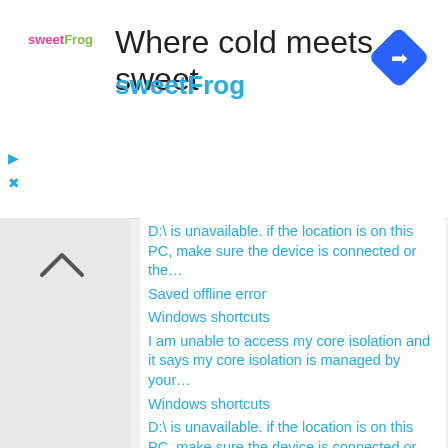[Figure (screenshot): sweetFrog advertisement banner: logo on left, 'Where cold meets sweet' as headline, 'sweetFrog' in blue below, blue diamond navigation icon on right]
[Figure (screenshot): Left sidebar with play and close icons, and an up chevron button]
D:\ is unavailable. if the location is on this PC, make sure the device is connected or the…
Saved offline error
Windows shortcuts
I am unable to access my core isolation and it says my core isolation is managed by your…
Windows shortcuts
D:\ is unavailable. if the location is on this PC, make sure the device is connected or the…
Cannot access Control Panel after Insider Beta update on August 25
How to prevent Windows from automatically connect to a paired bluetooth device
Cannot access Control Panel after Insider Beta update on August 25
How to prevent Windows from